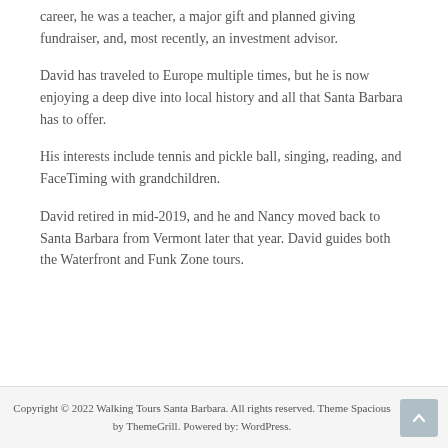career, he was a teacher, a major gift and planned giving fundraiser, and, most recently, an investment advisor.
David has traveled to Europe multiple times, but he is now enjoying a deep dive into local history and all that Santa Barbara has to offer.
His interests include tennis and pickle ball, singing, reading, and FaceTiming with grandchildren.
David retired in mid-2019, and he and Nancy moved back to Santa Barbara from Vermont later that year. David guides both the Waterfront and Funk Zone tours.
Copyright © 2022 Walking Tours Santa Barbara. All rights reserved. Theme Spacious by ThemeGrill. Powered by: WordPress.